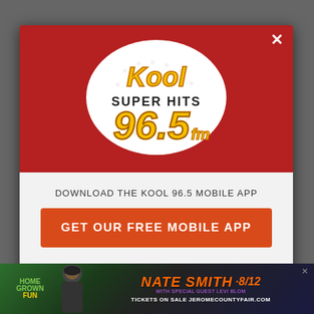[Figure (logo): Kool Super Hits 96.5 FM radio station logo on dark red background with close button]
DOWNLOAD THE KOOL 96.5 MOBILE APP
GET OUR FREE MOBILE APP
Also listen on: amazon alexa
[Figure (infographic): Bottom advertisement banner: Home Grown Fun - Nate Smith 8/12 with Special Guest Levi Blom, Tickets on Sale JeromeCountyFair.com]